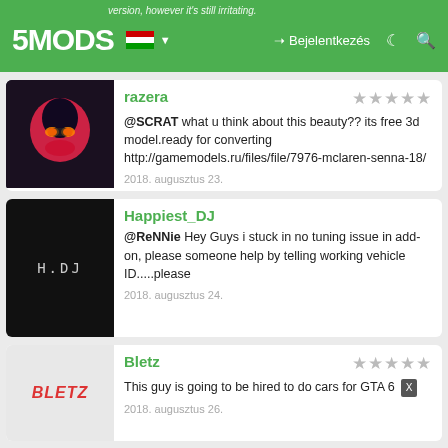5MODS — version, however it's still irritating. — Bejelentkezés
razera — @SCRAT what u think about this beauty?? its free 3d model.ready for converting http://gamemodels.ru/files/file/7976-mclaren-senna-18/ — 2018. augusztus 23.
Happiest_DJ — @ReNNie Hey Guys i stuck in no tuning issue in add-on, please someone help by telling working vehicle ID.....please — 2018. augusztus 24.
Bletz — This guy is going to be hired to do cars for GTA 6 — 2018. augusztus 26.
Bletz